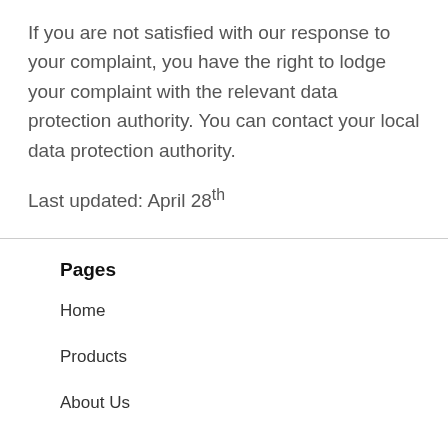If you are not satisfied with our response to your complaint, you have the right to lodge your complaint with the relevant data protection authority. You can contact your local data protection authority.
Last updated: April 28th
Pages
Home
Products
About Us